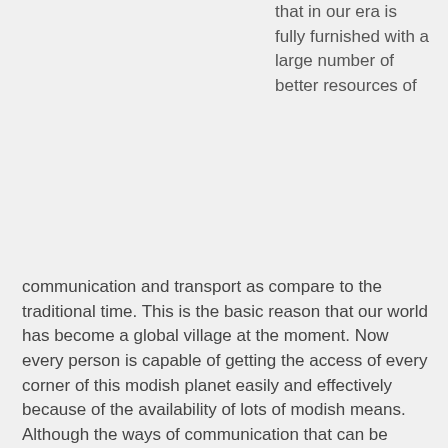that in our era is fully furnished with a large number of better resources of
communication and transport as compare to the traditional time. This is the basic reason that our world has become a global village at the moment. Now every person is capable of getting the access of every corner of this modish planet easily and effectively because of the availability of lots of modish means. Although the ways of communication that can be employed these days are immense in numbers but the performance and fame of internet is the highest among all. It is due to its remarkable characteristics and tremendous offered facilities in a negligible cost together with its easy availability around the world even on the hand sets.